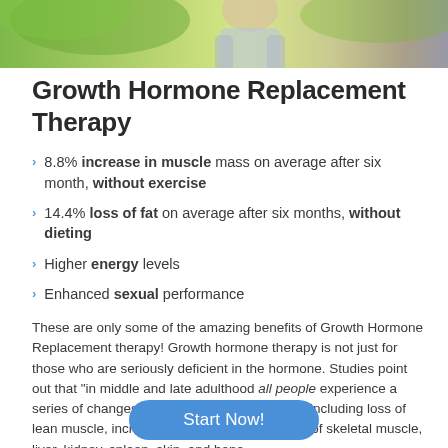[Figure (photo): Cropped photo of a person outdoors with greenery in the background, showing upper body.]
Growth Hormone Replacement Therapy
8.8% increase in muscle mass on average after six month, without exercise
14.4% loss of fat on average after six months, without dieting
Higher energy levels
Enhanced sexual performance
These are only some of the amazing benefits of Growth Hormone Replacement therapy! Growth hormone therapy is not just for those who are seriously deficient in the hormone. Studies point out that “in middle and late adulthood all people experience a series of changes in their body compositions”, including loss of lean muscle, increase in body fat, and atrophy of skeletal muscle, liver, kidney, spleen, skin, and bone.